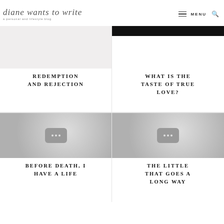diane wants to write — a personal and lifestyle blog
[Figure (screenshot): Light gray placeholder image for blog post]
REDEMPTION AND REJECTION
[Figure (screenshot): Black banner image and white space for blog post]
WHAT IS THE TASTE OF TRUE LOVE?
[Figure (screenshot): Gray gradient video thumbnail placeholder with YouTube-style icon]
BEFORE DEATH, I HAVE A LIFE
[Figure (screenshot): Gray gradient video thumbnail placeholder with YouTube-style icon]
THE LITTLE THAT GOES A LONG WAY